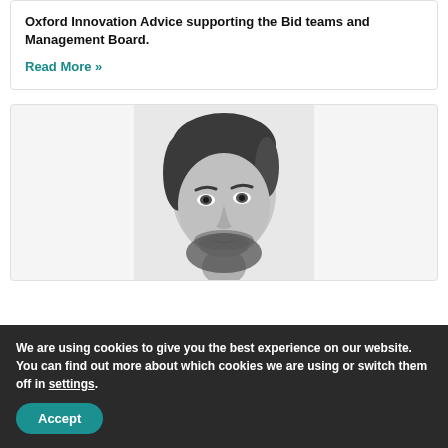Oxford Innovation Advice supporting the Bid teams and Management Board.
Read More »
[Figure (photo): Black and white portrait photo of a man with dark hair and beard, looking slightly upward to the left]
We are using cookies to give you the best experience on our website.
You can find out more about which cookies we are using or switch them off in settings.
Accept